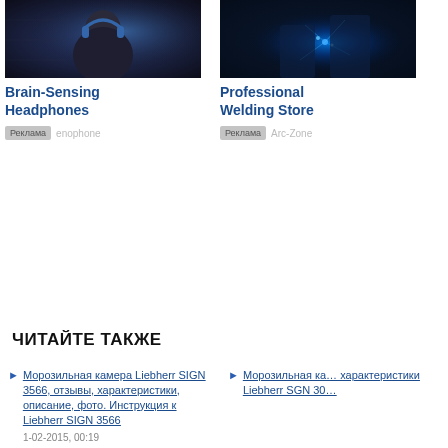[Figure (photo): Brain-sensing headphones advertisement image — person wearing headphones against dark background]
Brain-Sensing Headphones
Реклама  enophone
[Figure (photo): Professional welding store advertisement image — welding sparks in dark blue setting]
Professional Welding Store
Реклама  Arc-Zone
ЧИТАЙТЕ ТАКЖЕ
Морозильная камера Liebherr SIGN 3566, отзывы, характеристики, описание, фото. Инструкция к Liebherr SIGN 3566  1-02-2015, 00:19
Морозильная камера характеристики Liebherr SGN 30…